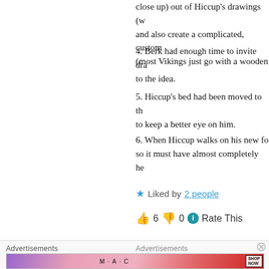close up) out of Hiccup’s drawings (w and also create a complicated, custom (most Vikings just go with a wooden
4. Berk had enough time to invite dra to the idea.
5. Hiccup’s bed had been moved to th to keep a better eye on him.
6. When Hiccup walks on his new fo so it must have almost completely he
★ Liked by 2 people
👍 6 👎 0 ℹ Rate This
Advertisements
[Figure (photo): MAC cosmetics advertisement showing lipsticks with SHOP NOW button]